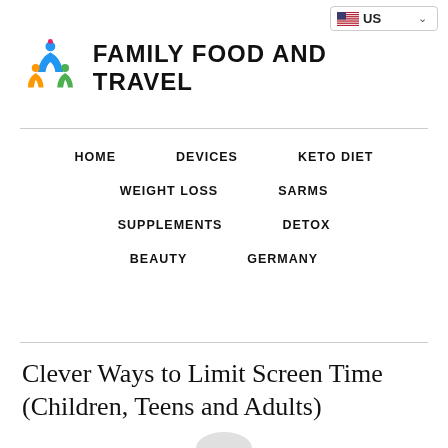US
[Figure (logo): Family Food and Travel logo with colorful figures icon and bold uppercase text]
HOME  DEVICES  KETO DIET  WEIGHT LOSS  SARMS  SUPPLEMENTS  DETOX  BEAUTY  GERMANY
Clever Ways to Limit Screen Time (Children, Teens and Adults)